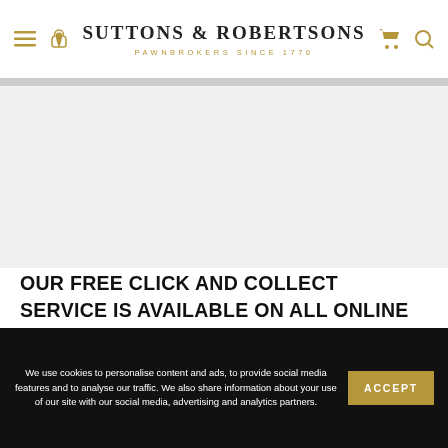SUTTONS & ROBERTSONS
PAWNBROKERS SINCE 1770
[Figure (photo): Hero image area - large product or store photograph, mostly light gray/white]
OUR FREE CLICK AND COLLECT SERVICE IS AVAILABLE ON ALL ONLINE ORDERS. OUR LONDON STORE LOCATIONS ARE VICTORIA, SOUTH KENSINGTON, EDGWARE ROAD AND FLEET STREET. FOR FURTHER INFORMATIO...
We use cookies to personalise content and ads, to provide social media features and to analyse our traffic. We also share information about your use of our site with our social media, advertising and analytics partners.